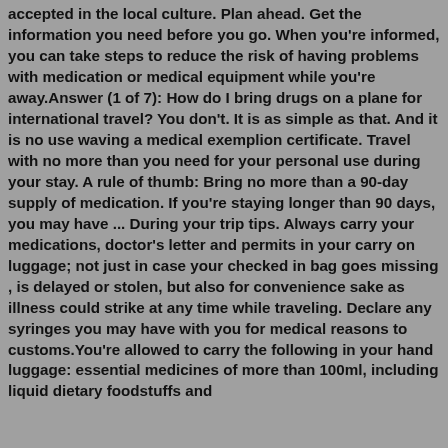accepted in the local culture. Plan ahead. Get the information you need before you go. When you're informed, you can take steps to reduce the risk of having problems with medication or medical equipment while you're away.Answer (1 of 7): How do I bring drugs on a plane for international travel? You don't. It is as simple as that. And it is no use waving a medical exemplion certificate. Travel with no more than you need for your personal use during your stay. A rule of thumb: Bring no more than a 90-day supply of medication. If you're staying longer than 90 days, you may have ... During your trip tips. Always carry your medications, doctor's letter and permits in your carry on luggage; not just in case your checked in bag goes missing , is delayed or stolen, but also for convenience sake as illness could strike at any time while traveling. Declare any syringes you may have with you for medical reasons to customs.You're allowed to carry the following in your hand luggage: essential medicines of more than 100ml, including liquid dietary foodstuffs and